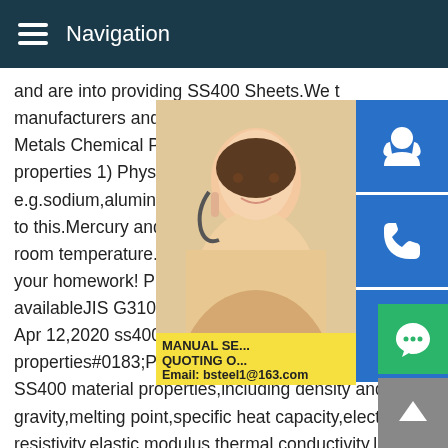Navigation
and are into providing SS400 Sheets.We t manufacturers and exporters of the indust Metals Chemical Physical properties Scho properties 1) Physical state Metals are sol e.g.sodium,aluminum ,potassium,magnesi to this.Mercury and gallium are metals but room temperature.Can We Help with Your your homework! Professional writers in all availableJIS G3101 SS400 Steel Equivale Apr 12,2020 ss400 chemical and physical properties#0183;Physical Properties.The f SS400 material properties,including density and specific gravity,melting point,specific heat capacity,electrical resistivity,elastic modulus,thermal conductivity,linear expansion coefficient,Youngs modulus,magnetic permeability,etc.Notes 1 K-1 = 10-6 /K; 1 mm ss400 chemical and physical properties#178;/m = 1 m
[Figure (photo): Woman with headset, customer service representative photo]
MANUAL SE... QUOTING O... Email: bsteel1@163.com